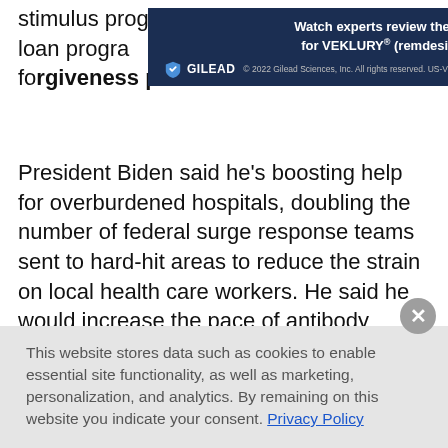stimulus programs, saying he's expanding loan programs...ng the loan forgiveness process.
[Figure (infographic): Gilead advertisement banner: 'Watch experts review the NIH's recommendations for VEKLURY® (remdesivir) 100 mg for injection' with Gilead logo and copyright notice '© 2022 Gilead Sciences, Inc. All rights reserved. US-VKYP-0172 06/22']
President Biden said he's boosting help for overburdened hospitals, doubling the number of federal surge response teams sent to hard-hit areas to reduce the strain on local health care workers. He said he would increase the pace of antibody treatments to states by 50%.
“We made so much progress during the past 7 months of this pandemic. Even so, we remain at a critical moment, a critical time,” he said. “We have the tools. Now, we just have to finish the job with
This website stores data such as cookies to enable essential site functionality, as well as marketing, personalization, and analytics. By remaining on this website you indicate your consent. Privacy Policy